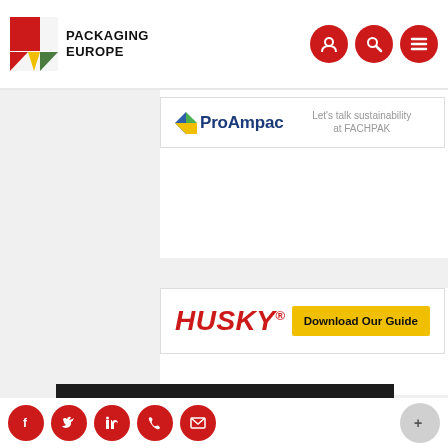PACKAGING EUROPE
[Figure (infographic): ProAmpac advertisement banner: ProAmpac logo with tagline 'Let's talk sustainability at FACHPAK']
[Figure (infographic): Husky advertisement banner with red Husky logo and yellow 'Download Our Guide' button]
Thermal Imaging Assures Packaging Quality a...
12
Welcome to packagingeurope.com. This site uses cookies. Read our policy.
OK